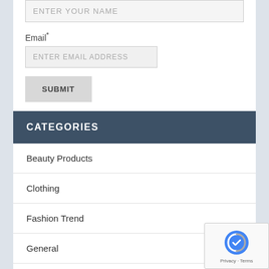ENTER YOUR NAME
Email*
ENTER EMAIL ADDRESS
SUBMIT
CATEGORIES
Beauty Products
Clothing
Fashion Trend
General
Gifts